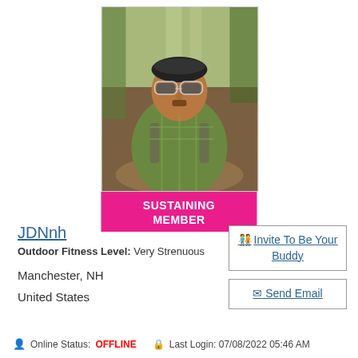[Figure (photo): Profile photo of a man wearing sunglasses and a bandana, outdoors on a trail with a backpack, green plaid shirt. Below the photo is a pink banner reading SUSTAINING MEMBER.]
JDNnh
Outdoor Fitness Level: Very Strenuous
Manchester, NH
United States
Invite To Be Your Buddy
Send Email
Online Status: OFFLINE   Last Login: 07/08/2022 05:46 AM